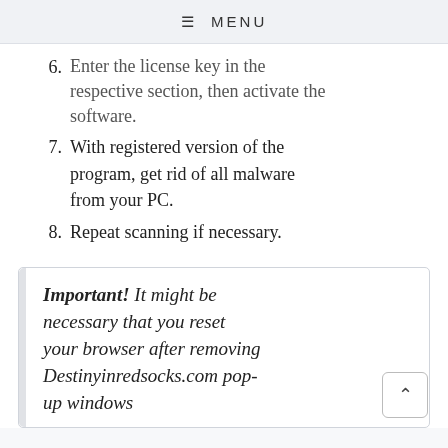≡ MENU
6. Enter the license key in the respective section, then activate the software.
7. With registered version of the program, get rid of all malware from your PC.
8. Repeat scanning if necessary.
Important! It might be necessary that you reset your browser after removing Destinyinredsocks.com pop-up windows